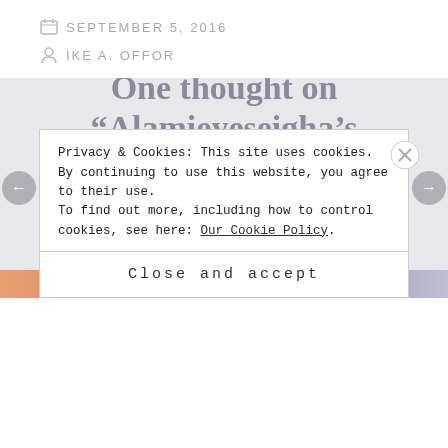SEPTEMBER 5, 2016
IKE A. OFFOR
One thought on “Alamieyeseigha’s N2.8b Chelsea Hotel Rots Away In Abuja |The Republican [...]"
Privacy & Cookies: This site uses cookies. By continuing to use this website, you agree to their use.
To find out more, including how to control cookies, see here: Our Cookie Policy.
Close and accept